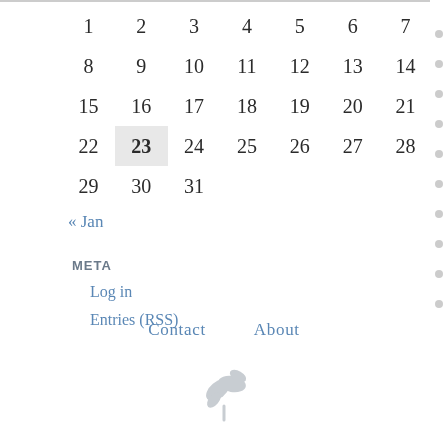|  |  |  |  |  |  |  |
| --- | --- | --- | --- | --- | --- | --- |
| 1 | 2 | 3 | 4 | 5 | 6 | 7 |
| 8 | 9 | 10 | 11 | 12 | 13 | 14 |
| 15 | 16 | 17 | 18 | 19 | 20 | 21 |
| 22 | 23 | 24 | 25 | 26 | 27 | 28 |
| 29 | 30 | 31 |  |  |  |  |
« Jan
META
Log in
Entries (RSS)
Contact   About